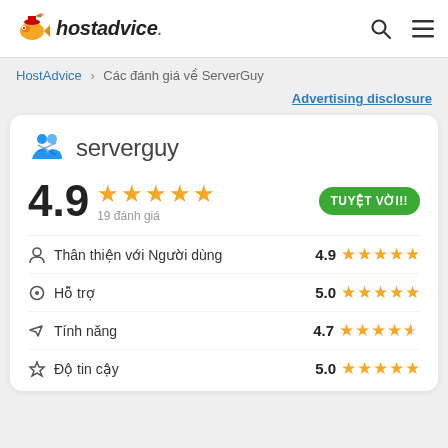[Figure (logo): HostAdvice website header with fish mascot logo and navigation icons (search, menu)]
HostAdvice > Các đánh giá về ServerGuy
Advertising disclosure
[Figure (logo): ServerGuy logo with blue icon and text 'serverguy']
4.9 ★★★★★ 19 đánh giá — TUYỆT VỜI!!
Thân thiện với Người dùng  4.9 ★★★★★
Hỗ trợ  5.0 ★★★★★
Tính năng  4.7 ★★★★½
Độ tin cậy  5.0 ★★★★★